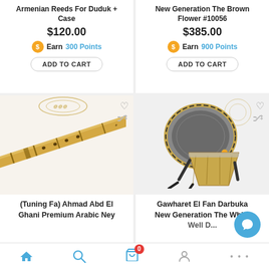Armenian Reeds For Duduk + Case
$120.00
Earn 300 Points
ADD TO CART
New Generation The Brown Flower #10056
$385.00
Earn 900 Points
ADD TO CART
[Figure (photo): A bamboo Ney flute (Arabic flute) photographed diagonally on a white background]
(Tuning Fa) Ahmad Abd El Ghani Premium Arabic Ney
[Figure (photo): A decorative Darbuka drum (Gawharet El Fan) with ornate silver and gold engravings on a stand]
Gawharet El Fan Darbuka New Generation The White...